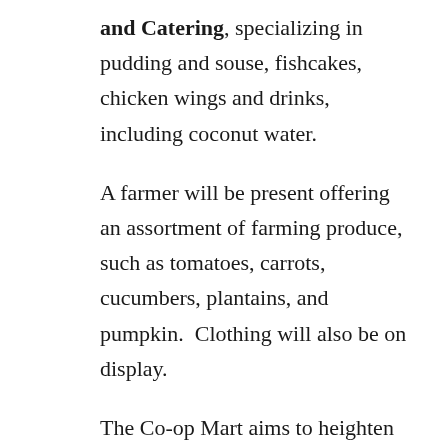and Catering, specializing in pudding and souse, fishcakes, chicken wings and drinks, including coconut water.
A farmer will be present offering an assortment of farming produce, such as tomatoes, carrots, cucumbers, plantains, and pumpkin.  Clothing will also be on display.
The Co-op Mart aims to heighten awareness about co-operatives as entrepreneurs and innovators in the Barbadian marketplace, while giving them another platform to display or sell their goods and services.
joy-ann.gill@barbados.gov.bb
Tags: Co-op Mart, Ministry of Small Business